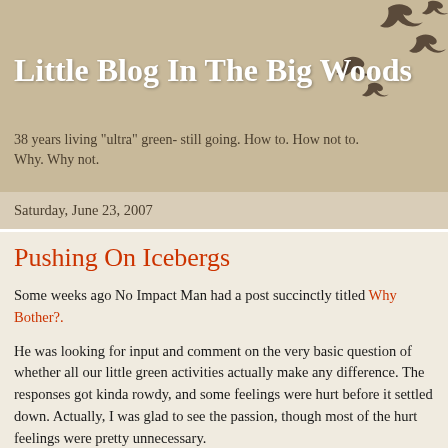Little Blog In The Big Woods
38 years living "ultra" green- still going. How to. How not to. Why. Why not.
Saturday, June 23, 2007
Pushing On Icebergs
Some weeks ago No Impact Man had a post succinctly titled Why Bother?.
He was looking for input and comment on the very basic question of whether all our little green activities actually make any difference. The responses got kinda rowdy, and some feelings were hurt before it settled down. Actually, I was glad to see the passion, though most of the hurt feelings were pretty unnecessary.